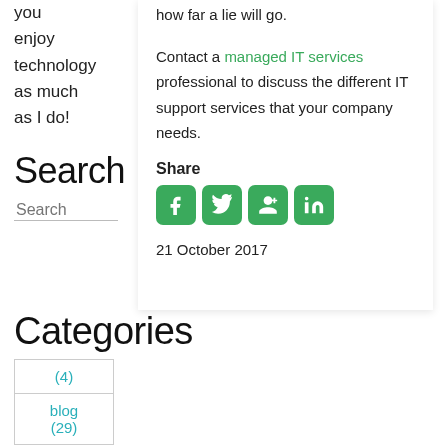you enjoy technology as much as I do!
Contact a managed IT services professional to discuss the different IT support services that your company needs.
Share
[Figure (other): Social share icons: Facebook, Twitter, Google+, LinkedIn — all green rounded squares]
21 October 2017
Search
Categories
| (4) |
| blog
(29) |